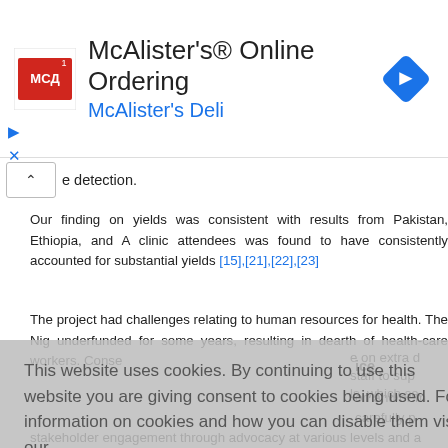[Figure (screenshot): McAlister's Online Ordering advertisement banner with McAlister's Deli logo, app icon with navigation arrow, and collapse/expand controls]
e detection.
Our finding on yields was consistent with results from Pakistan, Ethiopia, and A clinic attendees was found to have consistently accounted for substantial yields [15],[21],[22],[23]
The project had challenges relating to human resources for health. The Nig underfunded for some years, resulting in dearth of health-care workers. Conse e on extra d staff to sup ls, which se
This website uses cookies. By continuing to use this website you are giving consent to cookies being used. For information on cookies and how you can disable them visit our
Privacy and Cookie Policy.
AGREE & PROCEED
ice
on and/or m
carefully p
stakeholder engagement through advocacy at various levels and a